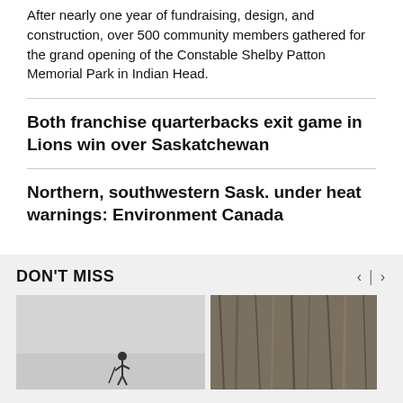After nearly one year of fundraising, design, and construction, over 500 community members gathered for the grand opening of the Constable Shelby Patton Memorial Park in Indian Head.
Both franchise quarterbacks exit game in Lions win over Saskatchewan
Northern, southwestern Sask. under heat warnings: Environment Canada
DON'T MISS
[Figure (photo): Person standing on a frozen or misty landscape with a pole or staff]
[Figure (photo): Close-up of tree bark or wooden texture]